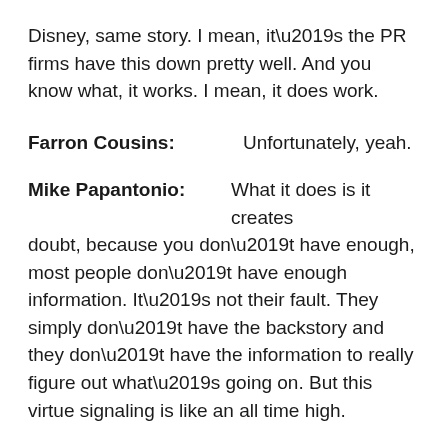Disney, same story. I mean, it’s the PR firms have this down pretty well. And you know what, it works. I mean, it does work.
Farron Cousins: Unfortunately, yeah.
Mike Papantonio: What it does is it creates doubt, because you don’t have enough, most people don’t have enough information. It’s not their fault. They simply don’t have the backstory and they don’t have the information to really figure out what’s going on. But this virtue signaling is like an all time high.
AOC delivered a scathing rant about American democracy recently and she makes some incredibly